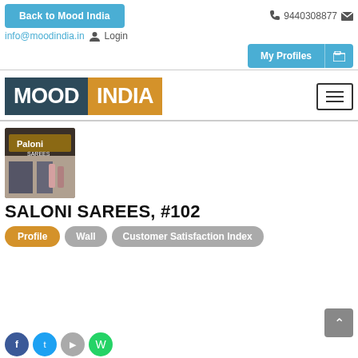Back to Mood India | 9440308877 | info@moodindia.in | Login | My Profiles
[Figure (logo): Mood India logo with dark teal MOOD block and orange INDIA block]
[Figure (photo): Storefront photo of Saloni Sarees shop]
SALONI SAREES, #102
Profile | Wall | Customer Satisfaction Index